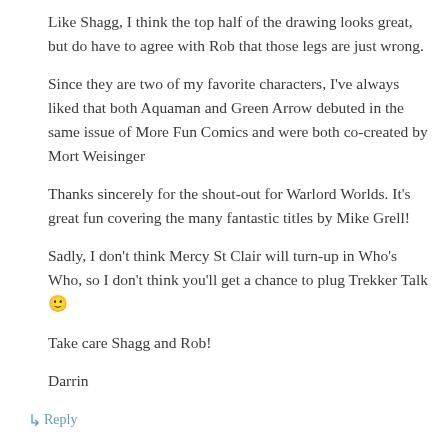Like Shagg, I think the top half of the drawing looks great, but do have to agree with Rob that those legs are just wrong.
Since they are two of my favorite characters, I've always liked that both Aquaman and Green Arrow debuted in the same issue of More Fun Comics and were both co-created by Mort Weisinger
Thanks sincerely for the shout-out for Warlord Worlds. It's great fun covering the many fantastic titles by Mike Grell!
Sadly, I don't think Mercy St Clair will turn-up in Who's Who, so I don't think you'll get a chance to plug Trekker Talk 🙂
Take care Shagg and Rob!
Darrin
↳ Reply
JoeX on February 1, 2016 at 11:59 am
Hey, once we hit the Legion and non-DCU titles, can we get an updated theme song?